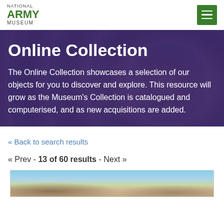NATIONAL ARMY MUSEUM
Online Collection
The Online Collection showcases a selection of our objects for you to discover and explore. This resource will grow as the Museum's Collection is catalogued and computerised, and as new acquisitions are added.
« Back to search results
« Prev - 13 of 60 results - Next »
[Figure (photo): Partial view of a painting showing a landscape scene, sky and ground visible]